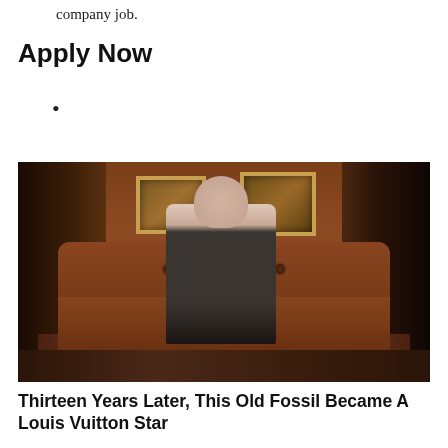company job.
Apply Now
•
PROMOTED CONTENT
[Figure (photo): An elderly man in a dark suit and pink shirt sitting on a brown leather tufted sofa in a wood-paneled library room with bookshelves and framed paintings on the wall.]
Thirteen Years Later, This Old Fossil Became A Louis Vuitton Star